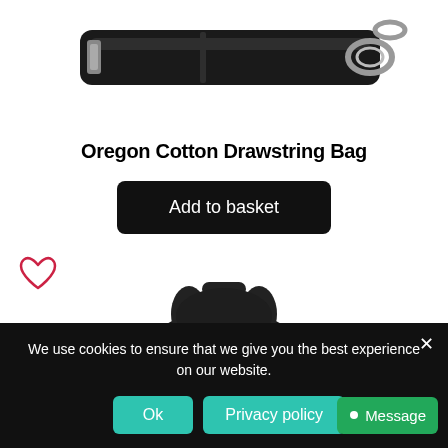[Figure (photo): Close-up of a black drawstring bag strap with metal hardware, cropped at top]
Oregon Cotton Drawstring Bag
Add to basket
[Figure (photo): Black backpack/rucksack product photo with circular front pocket and carry handle, shown from front]
We use cookies to ensure that we give you the best experience on our website.
Ok
Privacy policy
Message